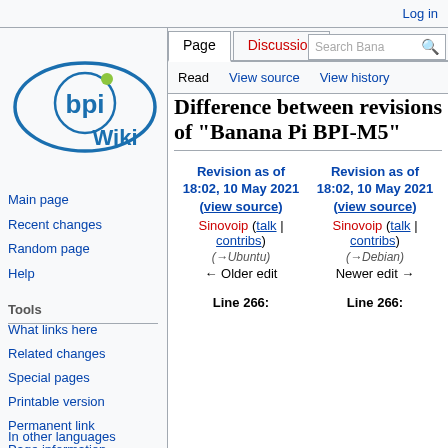Log in
[Figure (logo): BPi Wiki logo - blue oval with 'bpi' text and 'Wiki' text below]
Difference between revisions of "Banana Pi BPI-M5"
Revision as of 18:02, 10 May 2021 (view source)
Sinovoip (talk | contribs)
(→Ubuntu)
← Older edit
Revision as of 18:02, 10 May 2021 (view source)
Sinovoip (talk | contribs)
(→Debian)
Newer edit →
Line 266:
Line 266:
Main page
Recent changes
Random page
Help
Tools
What links here
Related changes
Special pages
Printable version
Permanent link
Page information
In other languages